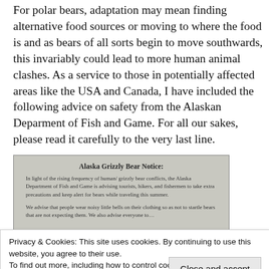For polar bears, adaptation may mean finding alternative food sources or moving to where the food is and as bears of all sorts begin to move southwards, this invariably could lead to more human animal clashes. As a service to those in potentially affected areas like the USA and Canada, I have included the following advice on safety from the Alaskan Deparment of Fish and Game. For all our sakes, please read it carefully to the very last line.
[Figure (photo): A photographed document titled 'Alaska Grizzly Bear Notice:' from the Alaska Department of Fish and Game, advising tourists, hikers, and fishermen to take extra precautions around bears while traveling this summer. Text describes wearing noisy little bells and other safety advice.]
Privacy & Cookies: This site uses cookies. By continuing to use this website, you agree to their use.
To find out more, including how to control cookies, see here: Cookie Policy